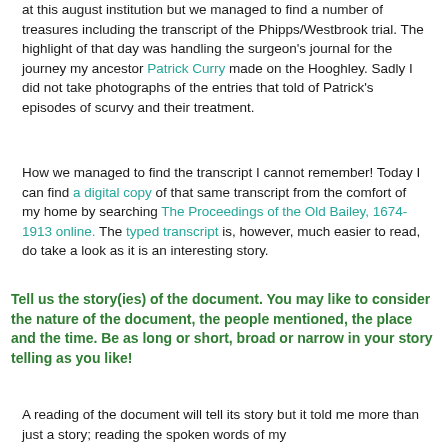at this august institution but we managed to find a number of treasures including the transcript of the Phipps/Westbrook trial. The highlight of that day was handling the surgeon's journal for the journey my ancestor Patrick Curry made on the Hooghley. Sadly I did not take photographs of the entries that told of Patrick's episodes of scurvy and their treatment.
How we managed to find the transcript I cannot remember! Today I can find a digital copy of that same transcript from the comfort of my home by searching The Proceedings of the Old Bailey, 1674-1913 online. The typed transcript is, however, much easier to read, do take a look as it is an interesting story.
Tell us the story(ies) of the document. You may like to consider the nature of the document, the people mentioned, the place and the time. Be as long or short, broad or narrow in your story telling as you like!
A reading of the document will tell its story but it told me more than just a story; reading the spoken words of my